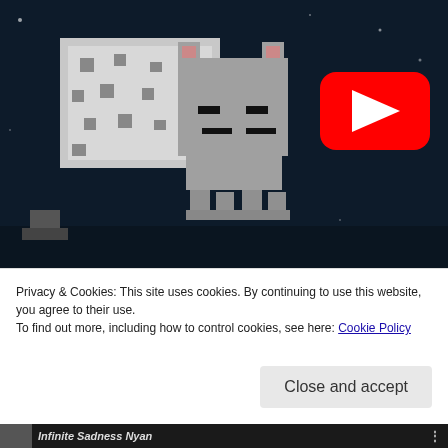[Figure (screenshot): YouTube video thumbnail featuring a pixel-art style sad Nyan Cat character on a dark background, with a red YouTube play button overlay in the center.]
Privacy & Cookies: This site uses cookies. By continuing to use this website, you agree to their use.
To find out more, including how to control cookies, see here: Cookie Policy
Close and accept
Infinite Sadness Nyan